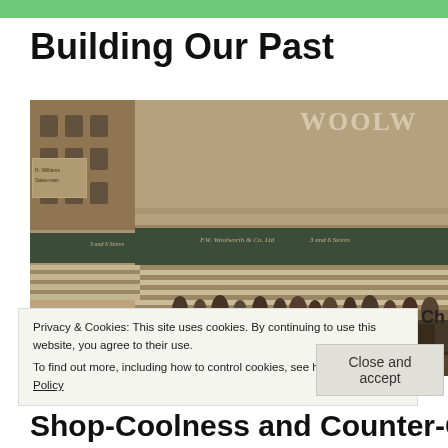Building Our Past
[Figure (photo): Sepia-toned historical photograph of an F.W. Woolworth & Co. Ltd store front with 'Woolw...' signage visible. A busy street scene with crowds of pedestrians and vintage cars from approximately the 1940s-1950s.]
Privacy & Cookies: This site uses cookies. By continuing to use this website, you agree to their use.
To find out more, including how to control cookies, see here: Cookie Policy
Close and accept
Ch
Shop-Coolness and Counter-Cleanliness